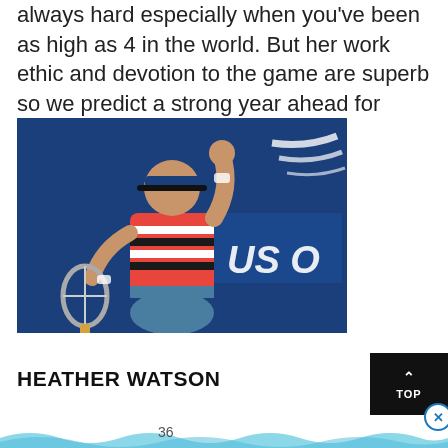always hard especially when you've been as high as 4 in the world. But her work ethic and devotion to the game are superb so we predict a strong year ahead for Konta
[Figure (photo): Tennis player Johanna Konta celebrating at the US Open, wearing a striped red/white/blue outfit and blue visor, holding a tennis racket, fist raised, with the US Open logo in the background.]
HEATHER WATSON